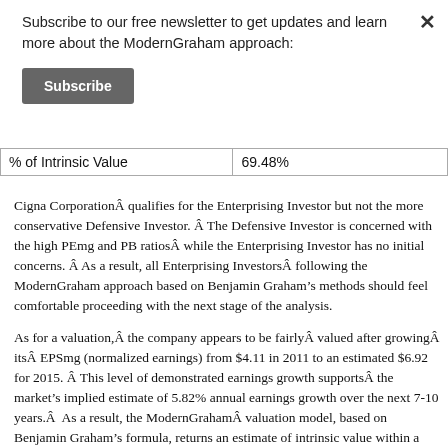Subscribe to our free newsletter to get updates and learn more about the ModernGraham approach:
Subscribe
| % of Intrinsic Value | 69.48% |
Cigna CorporationÂ qualifies for the Enterprising Investor but not the more conservative Defensive Investor. Â The Defensive Investor is concerned with the high PEmg and PB ratiosÂ while the Enterprising Investor has no initial concerns. Â As a result, all Enterprising InvestorsÂ following the ModernGraham approach based on Benjamin Graham’s methods should feel comfortable proceeding with the next stage of the analysis.
As for a valuation,Â the company appears to be fairlyÂ valued after growingÂ itsÂ EPSmg (normalized earnings) from $4.11 in 2011 to an estimated $6.92 for 2015. Â This level of demonstrated earnings growth supportsÂ the market’s implied estimate of 5.82% annual earnings growth over the next 7-10 years.Â  As a result, the ModernGrahamÂ valuation model, based on Benjamin Graham’s formula, returns an estimate of intrinsic value within a margin of